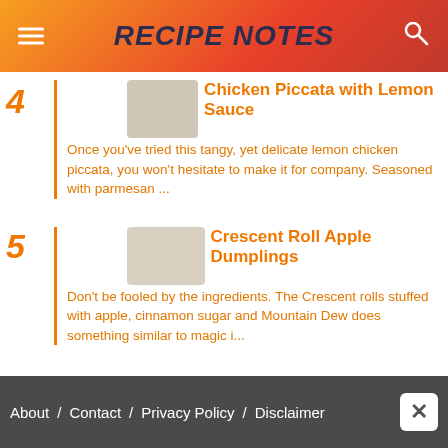RECIPE NOTES
4 Chicken Piccata with Lemon Sauce
Once you've tried this tangy, yet delicate lemon chicken piccata, you won't hesitate to make it for company. Seasoned with parmesan ...
5 Crescent Roll Apple Dumplings
Don't be fooled by the ingredients. The Crescent rolls stuffed with apple, cinnamon sugar and Mountain Dew does something similar to magic i...
About / Contact / Privacy Policy / Disclaimer